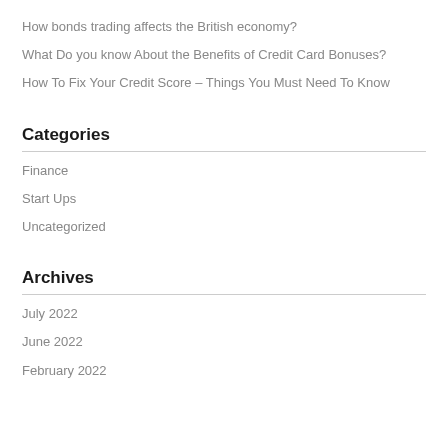How bonds trading affects the British economy?
What Do you know About the Benefits of Credit Card Bonuses?
How To Fix Your Credit Score – Things You Must Need To Know
Categories
Finance
Start Ups
Uncategorized
Archives
July 2022
June 2022
February 2022